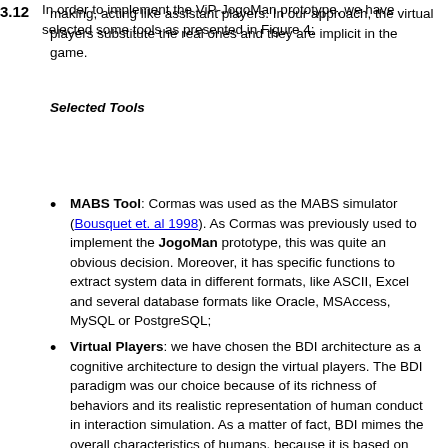making, acting like assistant players. In our approach, the virtual players substitute the real ones and they are implicit in the game.
Selected Tools
3.12  In order to implement the ViP-JogoMan prototype, we have selected some tools as presented in Figure 4:
MABS Tool: Cormas was used as the MABS simulator (Bousquet et. al 1998). As Cormas was previously used to implement the JogoMan prototype, this was quite an obvious decision. Moreover, it has specific functions to extract system data in different formats, like ASCII, Excel and several database formats like Oracle, MSAccess, MySQL or PostgreSQL;
Virtual Players: we have chosen the BDI architecture as a cognitive architecture to design the virtual players. The BDI paradigm was our choice because of its richness of behaviors and its realistic representation of human conduct in interaction simulation. As a matter of fact, BDI mimes the overall characteristics of humans, because it is based on psychological theories